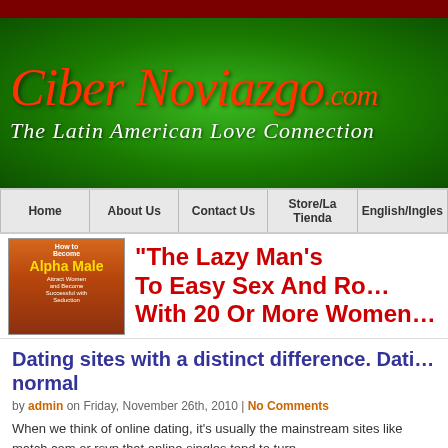[Figure (logo): CiberNoviazgo.com banner with green gradient background, red italic script logo text and white subtitle 'The Latin American Love Connection']
Home | About Us | Contact Us | Store/La Tienda | English/Ingles
[Figure (illustration): Book cover for 'How to Become Alpha Male' alongside red bold advertisement text: "The Lazy Man's To Easy Sex And Ro... With 20 Or More Women..."]
Dating sites with a distinct difference. Dati... normal
by admin on Friday, November 26th, 2010 | No Comments
When we think of online dating, it's usually the mainstream sites like match.com or rsvp that online singles tend to turn